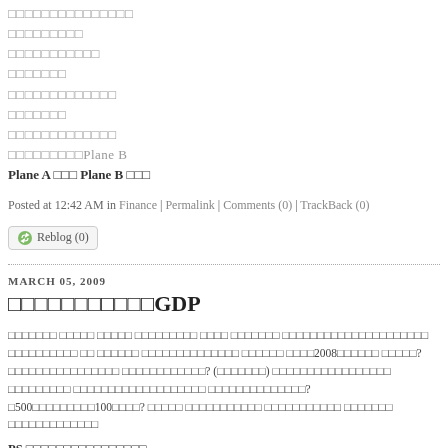□□□□□□□□□□□□□□□
□□□□□□□□□
□□□□□□□□□□□
□□□□□□□
□□□□□□□□□□□□□
□□□□□□□
□□□□□□□□□□□□□
□□□□□□□□□Plane B
Plane A □□□ Plane B □□□
Posted at 12:42 AM in Finance | Permalink | Comments (0) | TrackBack (0)
Reblog (0)
MARCH 05, 2009
□□□□□□□□□□□GDP
□□□□□□□ □□□□□ □□□□□ □□□□□□□□□ □□□□ □□□□□□□ □□□□□□□□□□□□□□□□□□□□□ □□□□□□□□□□ □□ □□□□□□ □□□□□□□□□□□□□□ □□□□□□ □□□□2008□□□□□□ □□□□□? □□□□□□□□□□□□□□□□ □□□□□□□□□□□□? (□□□□□□□) □□□□□□□□□□□□□□□□□ □□□□□□□□□ □□□□□□□□□□□□□□□□□□□ □□□□□□□□□□□□□□? □500□□□□□□□□□100□□□□? □□□□□ □□□□□□□□□□□ □□□□□□□□□□□ □□□□□□□ □□□□□□□□□□□□□
PS.□□□□□□□□□□□□□□□□